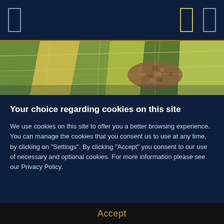[Figure (screenshot): Website navigation bar with dark navy background, two rectangle icon buttons on left and right sides, with a gold highlighted icon in the center-right area. A gold horizontal line runs along the bottom of the nav bar.]
[Figure (photo): Aerial photograph of agricultural farmland with patchwork fields in green and yellow tones, with a small village or town visible in the center-right of the image.]
Your choice regarding cookies on this site
We use cookies on this site to offer you a better browsing experience. You can manage the cookies that you consent us to use at any time, by clicking on "Settings". By clicking "Accept" you consent to our use of necessary and optional cookies. For more information please see our Privacy Policy.
Accept